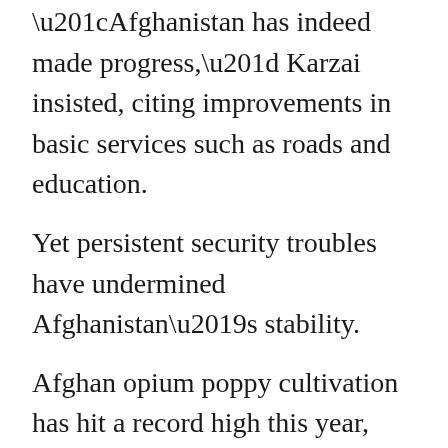“Afghanistan has indeed made progress,” Karzai insisted, citing improvements in basic services such as roads and education.
Yet persistent security troubles have undermined Afghanistan’s stability.
Afghan opium poppy cultivation has hit a record high this year, fueled by Taliban militants and corrupt officials in Karzai’s government, a U.N. report found last month. The country produces nearly all the world’s opium, and Taliban insurgents are profiting.
Also, Afghanistan remains in a fight for basic security, a constant threat to its growth as a new democracy. Karzai is pledging to work hard on peace talks with the Taliban to draw the insurgents